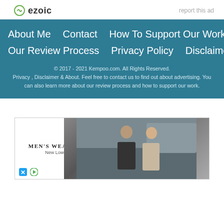[Figure (logo): Ezoic logo with green circular icon and 'ezoic' text in bold, with 'report this ad' text on the right]
About Me   Contact   How To Support Our Work
Our Review Process   Privacy Policy   Disclaimer
© 2017 - 2021 Kempoo.com. All Rights Reserved.
Privacy , Disclaimer & About. Feel free to contact us to find out about advertising. You can also learn more about our review process and how to support our work.
[Figure (photo): Men's Wearhouse advertisement showing a man in a gray suit priced at $229.99 and a couple in formal wear]